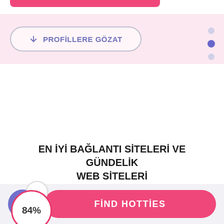[Figure (screenshot): Top pink bar decoration at top of screen]
PROFİLLERE GÖZAT
[Figure (infographic): Navigation dots on right side: 4 dots, second one active/dark]
EN İYİ BAĞLANTI SİTELERİ VE GÜNDELİK WEB SİTELERİ
84%
9.5
9.3
FİND HOTTİES